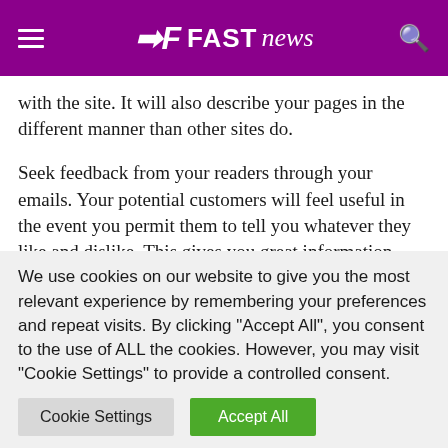FAST news
with the site. It will also describe your pages in the different manner than other sites do.
Seek feedback from your readers through your emails. Your potential customers will feel useful in the event you permit them to tell you whatever they like and dislike. This gives you great information. They are going to such as this, and you will definitely find some
We use cookies on our website to give you the most relevant experience by remembering your preferences and repeat visits. By clicking "Accept All", you consent to the use of ALL the cookies. However, you may visit "Cookie Settings" to provide a controlled consent.